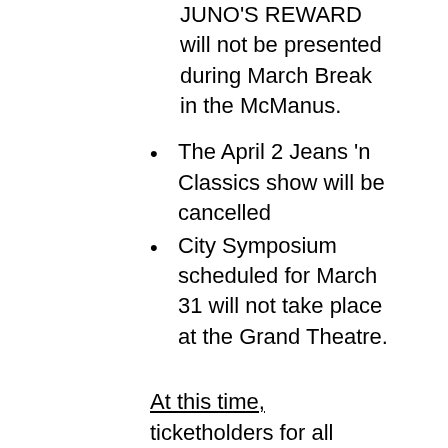JUNO'S REWARD will not be presented during March Break in the McManus.
The April 2 Jeans 'n Classics show will be cancelled
City Symposium scheduled for March 31 will not take place at the Grand Theatre.
At this time, ticketholders for all